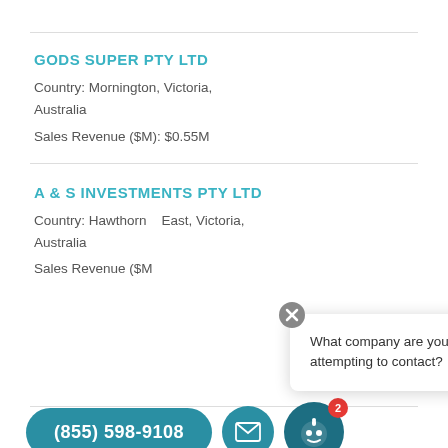GODS SUPER PTY LTD
Country: Mornington, Victoria,
Australia
Sales Revenue ($M): $0.55M
A & S INVESTMENTS PTY LTD
Country: Hawthorn   East, Victoria,
Australia
Sales Revenue ($M):
What company are you attempting to contact?
MOODYS ... OD ... TY LTD
Country:
Australia
(855) 598-9108